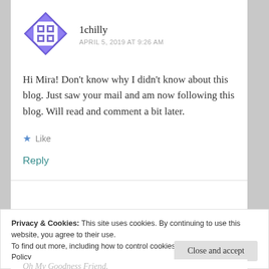[Figure (logo): Purple decorative quilt-pattern avatar icon for user 1chilly]
1chilly
APRIL 5, 2019 AT 9:26 AM
Hi Mira! Don't know why I didn't know about this blog. Just saw your mail and am now following this blog. Will read and comment a bit later.
Like
Reply
Privacy & Cookies: This site uses cookies. By continuing to use this website, you agree to their use.
To find out more, including how to control cookies, see here: Cookie Policy
Close and accept
Oh My Goodness Friend.